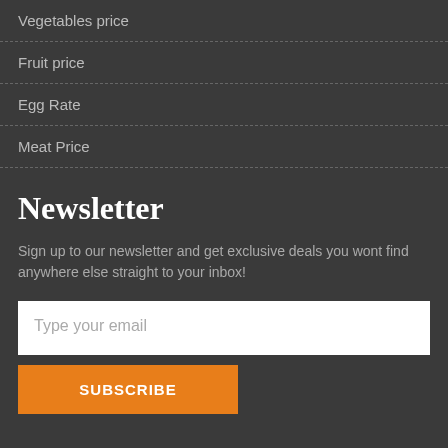Vegetables price
Fruit price
Egg Rate
Meat Price
Newsletter
Sign up to our newsletter and get exclusive deals you wont find anywhere else straight to your inbox!
Type your email
SUBSCRIBE